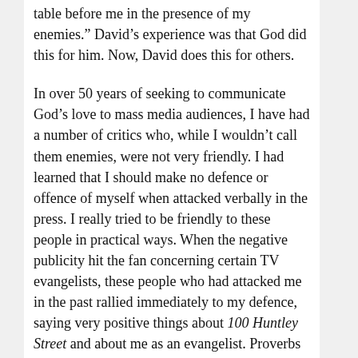table before me in the presence of my enemies.” David’s experience was that God did this for him. Now, David does this for others.
In over 50 years of seeking to communicate God’s love to mass media audiences, I have had a number of critics who, while I wouldn’t call them enemies, were not very friendly. I had learned that I should make no defence or offence of myself when attacked verbally in the press. I really tried to be friendly to these people in practical ways. When the negative publicity hit the fan concerning certain TV evangelists, these people who had attacked me in the past rallied immediately to my defence, saying very positive things about 100 Huntley Street and about me as an evangelist. Proverbs 11:30b says that, “He who wins souls is wise.” I pray for wisdom fervently every morning, because I know that if I do not have wisdom from God, I’ll turn more people away from God than I bring to Him. I’ve just accessed on Youtube the old hymn, “Jesus, What A Friend of Sinners” by the Gaither Vocal Band. Here’s a link to the audio of them singing it a capella. I’m blessed!